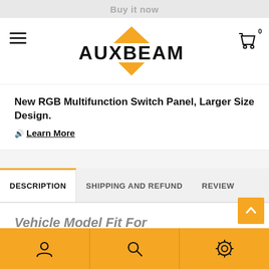Buy it now
[Figure (logo): Auxbeam logo with orange triangles above and below the text]
New RGB Multifunction Switch Panel, Larger Size Design.
🔊 Learn More
DESCRIPTION
SHIPPING AND REFUND
REVIEWS
Vehicle Model Fit For
Mercedes-Benz CLK550
User icon | Search icon | Settings icon